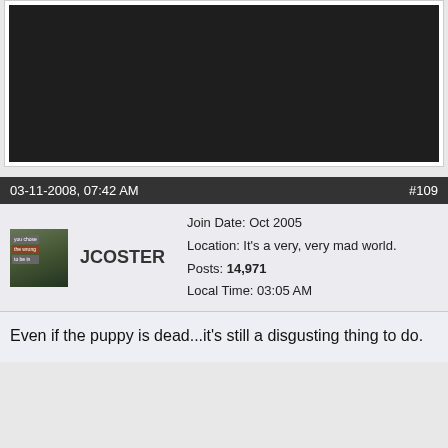[Figure (screenshot): Large black area representing an embedded image or video in a forum post]
03-11-2008, 07:42 AM   #109
JCOSTER
Join Date: Oct 2005
Location: It's a very, very mad world.
Posts: 14,971
Local Time: 03:05 AM
Even if the puppy is dead...it's still a disgusting thing to do.